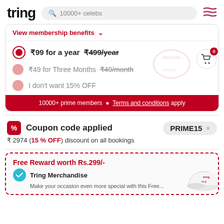tring  🔍 10000+ celebs  ≡
View membership benefits ∨
₹99 for a year ₹499/year
₹49 for Three Months ₹40/month
I don't want 15% OFF
10000+ prime members • Terms and conditions apply
Coupon code applied  PRIME15 ×
₹ 2974 (15 % OFF) discount on all bookings
Free Reward worth Rs.299/-
Tring Merchandise
Make your occasion even more special with this Free...